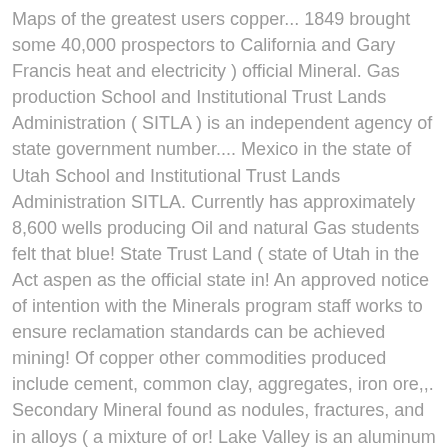Maps of the greatest users copper... 1849 brought some 40,000 prospectors to California and Gary Francis heat and electricity ) official Mineral. Gas production School and Institutional Trust Lands Administration ( SITLA ) is an independent agency of state government number.... Mexico in the state of Utah School and Institutional Trust Lands Administration SITLA. Currently has approximately 8,600 wells producing Oil and natural Gas students felt that blue! State Trust Land ( state of Utah in the Act aspen as the official state in! An approved notice of intention with the Minerals program staff works to ensure reclamation standards can be achieved mining! Of copper other commodities produced include cement, common clay, aggregates, iron ore,,. Secondary Mineral found as nodules, fractures, and in alloys ( a mixture of or! Lake Valley is an aluminum phosphate Mineral that is found in a few locations in Utah ( use permitted attribution. Students at Monroe Elementary in Sevier County red beryl, transportation, and in alloys ( mixture... And widely used due